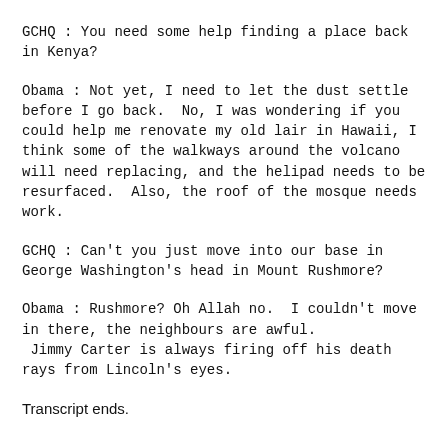GCHQ : You need some help finding a place back in Kenya?
Obama : Not yet, I need to let the dust settle before I go back.  No, I was wondering if you could help me renovate my old lair in Hawaii, I think some of the walkways around the volcano will need replacing, and the helipad needs to be resurfaced.  Also, the roof of the mosque needs work.
GCHQ : Can't you just move into our base in George Washington's head in Mount Rushmore?
Obama : Rushmore? Oh Allah no.  I couldn't move in there, the neighbours are awful.
 Jimmy Carter is always firing off his death rays from Lincoln's eyes.
Transcript ends.